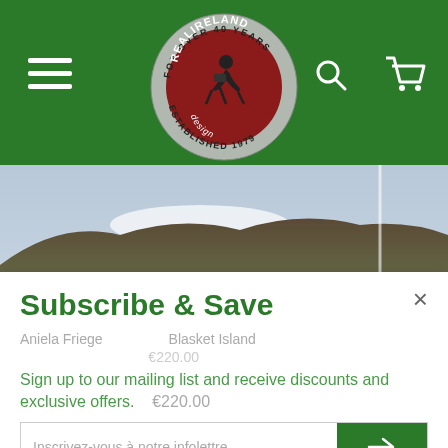[Figure (logo): Real Ireland Design circular logo — red center with photographer silhouette, silver border text reading 'FOR OVER 40 YEARS' and 'ESTABLISHED 1979']
[Figure (photo): Landscape photograph of Irish countryside with rocky hills, green fields and small buildings in the distance]
Subscribe & Save
Sign up to our mailing list and receive discounts and exclusive offers.
Inscrivez-vous à notre infolettre